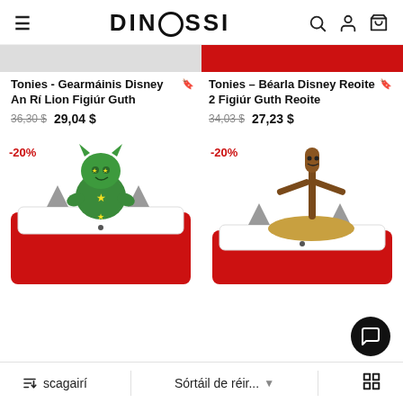DiNoSSi (with hamburger, search, account, cart icons)
Tonies - Gearmáinis Disney An Rí Lion Figiúr Guth
36,30 $ 29,04 $
Tonies – Béarla Disney Reoite 2 Figiúr Guth Reoite
34,03 $ 27,23 $
[Figure (photo): Green cat Toniebox figure on red Toniebox device with grey spikes, -20% badge]
[Figure (photo): Brown stick man Toniebox figure on red Toniebox device with grey spikes, -20% badge]
scagairí   Sórtáil de réir...   grid icon